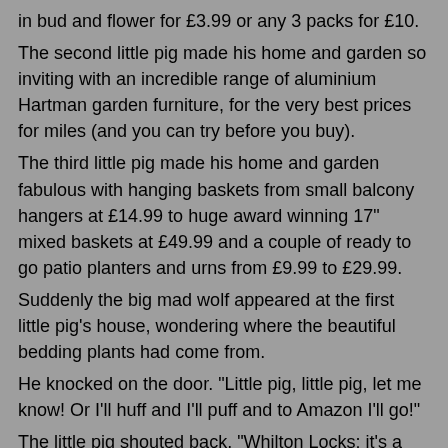in bud and flower for £3.99 or any 3 packs for £10.
The second little pig made his home and garden so inviting with an incredible range of aluminium Hartman garden furniture, for the very best prices for miles (and you can try before you buy).
The third little pig made his home and garden fabulous with hanging baskets from small balcony hangers at £14.99 to huge award winning 17" mixed baskets at £49.99 and a couple of ready to go patio planters and urns from £9.99 to £29.99.
Suddenly the big mad wolf appeared at the first little pig's house, wondering where the beautiful bedding plants had come from.
He knocked on the door. "Little pig, little pig, let me know! Or I'll huff and I'll puff and to Amazon I'll go!"
The little pig shouted back, "Whilton Locks: it's a winny win win – they've got it all for your own gardin*"
"Well blow me down!" Exclaimed the big mad wolf.
Next the big mad wolf went to the second little pig's house, wondering where the incredible garden furniture had come